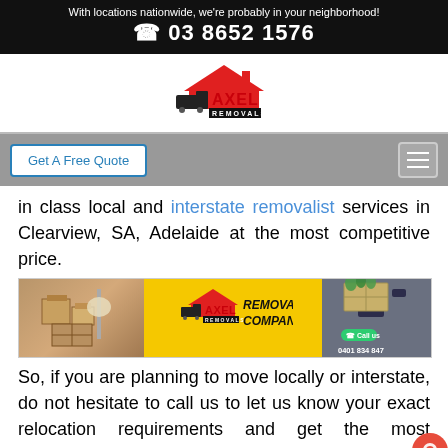With locations nationwide, we're probably in your neighborhood!
☎ 03 8652 1576
[Figure (logo): Axel Removals logo with red roof/house icon and moving truck, text AXEL REMOVALS]
Get A Free Quote
in class local and interstate removalist services in Clearview, SA, Adelaide at the most competitive price.
[Figure (illustration): Axel Removals banner showing moving boxes on left, Axel Removals Removalist Company logo center on yellow background, person carrying boxes on right with phone number 0401 834 847]
So, if you are planning to move locally or interstate, do not hesitate to call us to let us know your exact relocation requirements and get the most competitive quote for free.